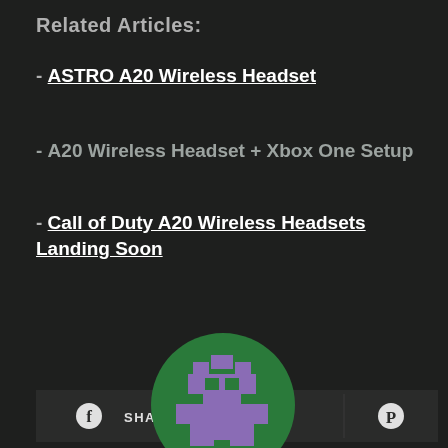Related Articles:
- ASTRO A20 Wireless Headset
- A20 Wireless Headset + Xbox One Setup
- Call of Duty A20 Wireless Headsets Landing Soon
[Figure (infographic): Share bar with Facebook Share, Twitter Tweet, and Pinterest buttons]
[Figure (logo): Green circle with purple pixel-art robot/avatar logo]